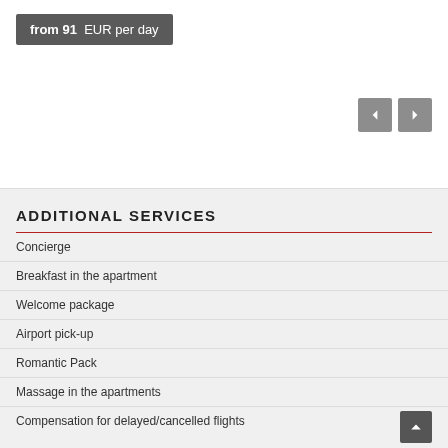from 91  EUR per day
[Figure (screenshot): Navigation arrow buttons (previous and next) in grey]
ADDITIONAL SERVICES
Concierge
Breakfast in the apartment
Welcome package
Airport pick-up
Romantic Pack
Massage in the apartments
Compensation for delayed/cancelled flights